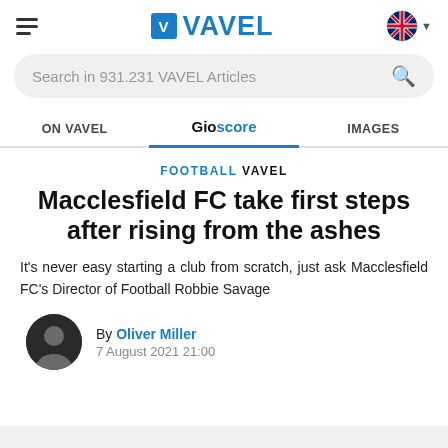VAVEL
Search in 931.231 VAVEL Articles
ON VAVEL | Gioscore | IMAGES
FOOTBALL VAVEL
Macclesfield FC take first steps after rising from the ashes
It's never easy starting a club from scratch, just ask Macclesfield FC's Director of Football Robbie Savage
By Oliver Miller 7 August 2021 21:00